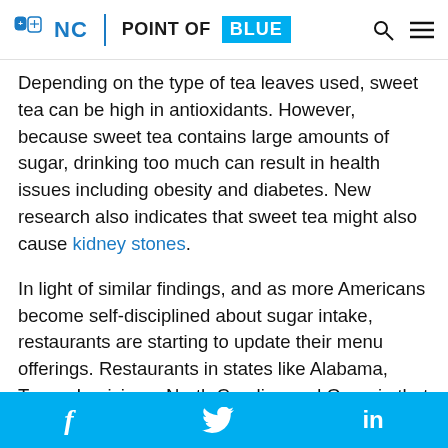NC POINT OF BLUE
Depending on the type of tea leaves used, sweet tea can be high in antioxidants. However, because sweet tea contains large amounts of sugar, drinking too much can result in health issues including obesity and diabetes. New research also indicates that sweet tea might also cause kidney stones.
In light of similar findings, and as more Americans become self-disciplined about sugar intake, restaurants are starting to update their menu offerings. Restaurants in states like Alabama, Texas, Louisiana, North Carolina and Georgia that may have served only sweet tea 20 years ago now offer unsweetened tea. Tea
f  🐦  in